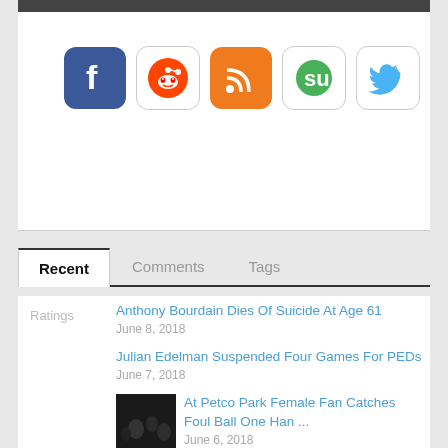[Figure (illustration): Social media icons: Facebook (blue rounded square), Reddit (alien mascot on white rounded square), RSS feed (orange rounded square), StumbleUpon (green S on white rounded square), Twitter (blue bird on white rounded square)]
Recent
Comments
Tags
Ratings
Anthony Bourdain Dies Of Suicide At Age 61
June 8, 2018
Julian Edelman Suspended Four Games For PEDs
June 7, 2018
[Figure (photo): Dark thumbnail image of crowd/fans at a sports event]
At Petco Park Female Fan Catches Foul Ball One Han ...
June 6, 2018
Watch Clay Matthews Get Nose Broken In Charity Sof ...
June 5, 2018